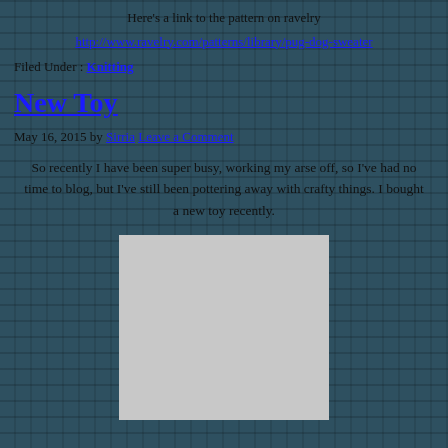Here's a link to the pattern on ravelry
http://www.ravelry.com/patterns/library/pug-dog-sweater
Filed Under: Knitting
New Toy
May 16, 2015 by Sirria Leave a Comment
So recently I have been super busy, working my arse off, so I've had no time to blog, but I've still been pottering away with crafty things. I bought a new toy recently.
[Figure (photo): A light grey/silver rectangular photo placeholder, partially visible at bottom of page]